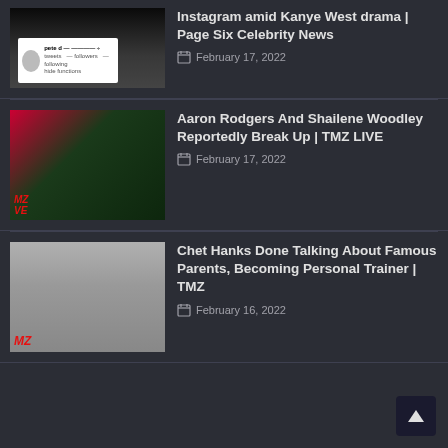Instagram amid Kanye West drama | Page Six Celebrity News — February 17, 2022
Aaron Rodgers And Shailene Woodley Reportedly Break Up | TMZ LIVE — February 17, 2022
Chet Hanks Done Talking About Famous Parents, Becoming Personal Trainer | TMZ — February 16, 2022